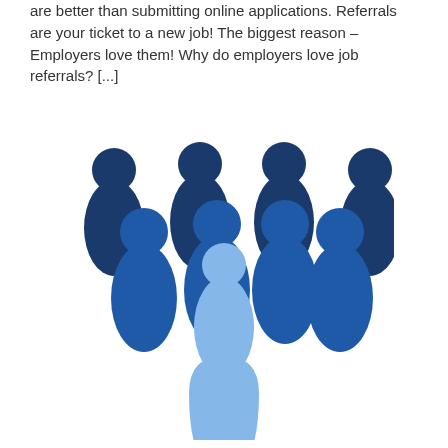are better than submitting online applications. Referrals are your ticket to a new job! The biggest reason – Employers love them! Why do employers love job referrals? [...]
[Figure (illustration): A group of nine stylized human figure icons arranged in a V/triangle formation, rendered in shades of blue (dark navy blue, medium blue, and light blue). The central front figure is light blue, surrounded by darker blue figures behind and to the sides, suggesting a team or group referral concept.]